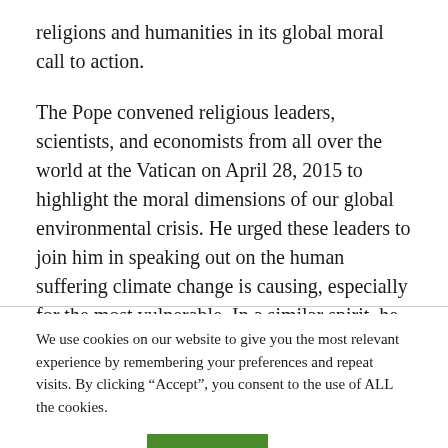religions and humanities in its global moral call to action.
The Pope convened religious leaders, scientists, and economists from all over the world at the Vatican on April 28, 2015 to highlight the moral dimensions of our global environmental crisis. He urged these leaders to join him in speaking out on the human suffering climate change is causing, especially for the most vulnerable. In a similar spirit, he commissioned
We use cookies on our website to give you the most relevant experience by remembering your preferences and repeat visits. By clicking “Accept”, you consent to the use of ALL the cookies.
Cookie settings   ACCEPT